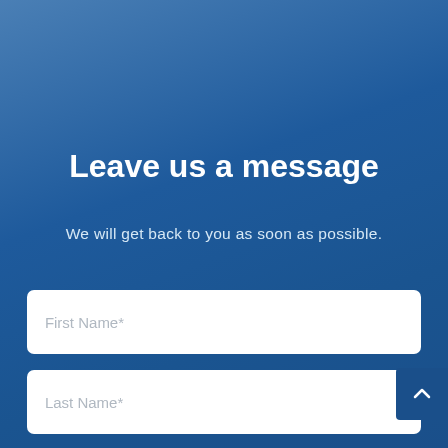Leave us a message
We will get back to you as soon as possible.
[Figure (screenshot): Contact form with three input fields: First Name*, Last Name*, Email*]
[Figure (other): Scroll-to-top button with upward chevron arrow on dark blue background]